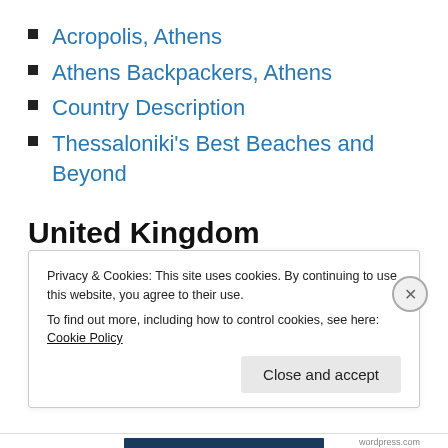Acropolis, Athens
Athens Backpackers, Athens
Country Description
Thessaloniki's Best Beaches and Beyond
United Kingdom
London Pass
Privacy & Cookies: This site uses cookies. By continuing to use this website, you agree to their use.
To find out more, including how to control cookies, see here: Cookie Policy
Close and accept